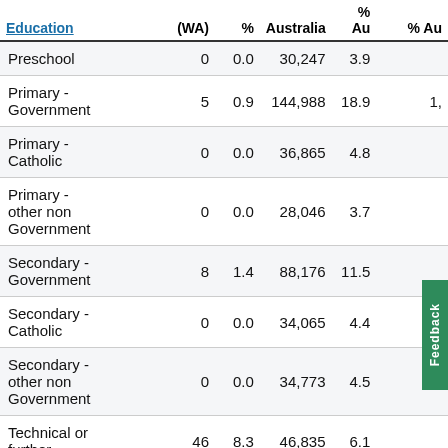| Education | (WA) | % WA | Australia | % Au | % Au |
| --- | --- | --- | --- | --- | --- |
| Preschool | 0 | 0.0 | 30,247 | 3.9 |  |
| Primary - Government | 5 | 0.9 | 144,988 | 18.9 | 1, |
| Primary - Catholic | 0 | 0.0 | 36,865 | 4.8 |  |
| Primary - other non Government | 0 | 0.0 | 28,046 | 3.7 |  |
| Secondary - Government | 8 | 1.4 | 88,176 | 11.5 |  |
| Secondary - Catholic | 0 | 0.0 | 34,065 | 4.4 |  |
| Secondary - other non Government | 0 | 0.0 | 34,773 | 4.5 |  |
| Technical or further | 46 | 8.3 | 46,835 | 6.1 |  |